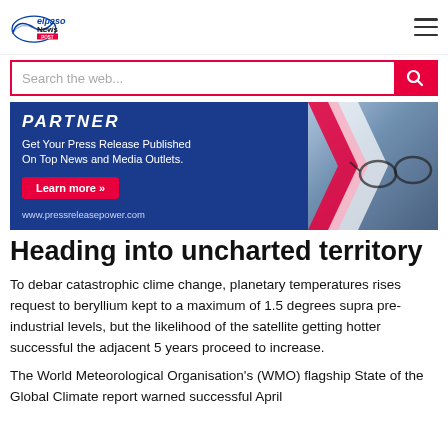elpaso News POST
[Figure (screenshot): Search bar with pink/red border and search button]
[Figure (illustration): Advertisement banner: PARTNER - Get Your Press Release Published On Top News and Media Outlets. Learn more >> www.pressreleasepower.com]
Heading into uncharted territory
To debar catastrophic clime change, planetary temperatures rises request to beryllium kept to a maximum of 1.5 degrees supra pre-industrial levels, but the likelihood of the satellite getting hotter successful the adjacent 5 years proceed to increase.
The World Meteorological Organisation's (WMO) flagship State of the Global Climate report warned successful April